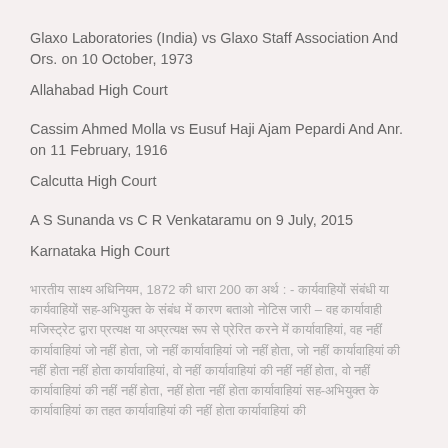Glaxo Laboratories (India) vs Glaxo Staff Association And Ors. on 10 October, 1973
Allahabad High Court
Cassim Ahmed Molla vs Eusuf Haji Ajam Pepardi And Anr. on 11 February, 1916
Calcutta High Court
A S Sunanda vs C R Venkataramu on 9 July, 2015
Karnataka High Court
[Hindi text content describing legal provisions related to Indian Evidence Act, 1872, Section 200]